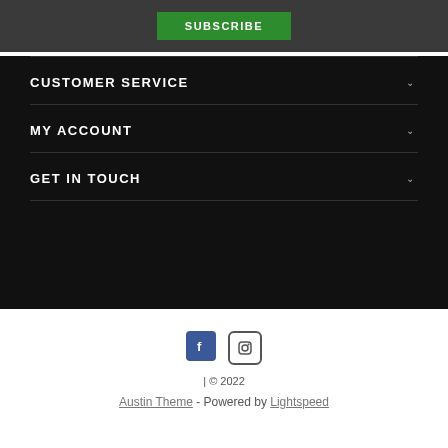SUBSCRIBE
CUSTOMER SERVICE
MY ACCOUNT
GET IN TOUCH
| © 2022
Austin Theme - Powered by Lightspeed